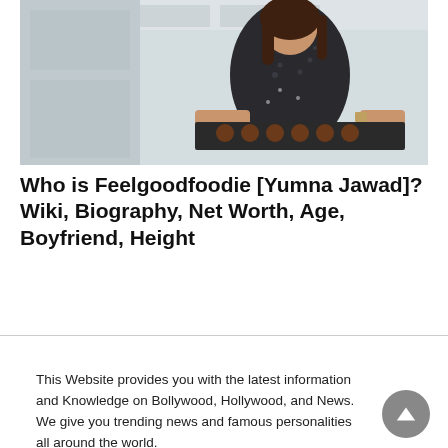[Figure (photo): Woman in a dark floral blouse holding a baking tray with muffins/rolls in a kitchen setting]
Who is Feelgoodfoodie [Yumna Jawad]? Wiki, Biography, Net Worth, Age, Boyfriend, Height
This Website provides you with the latest information and Knowledge on Bollywood, Hollywood, and News. We give you trending news and famous personalities all around the world.